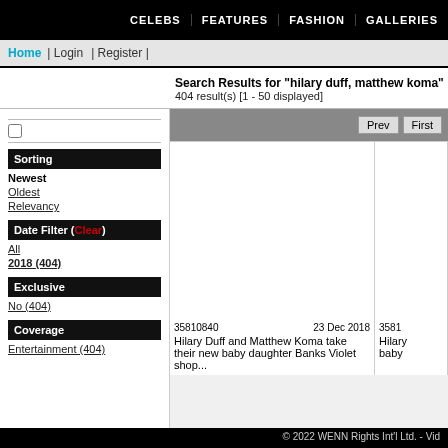CELEBS | FEATURES | FASHION | GALLERIES
Home | Login | Register |
Search Results for "hilary duff, matthew koma"
404 result(s) [1 - 50 displayed]
Sorting
Newest
Oldest
Relevancy
Date Filter (Clear)
All
2018 (404)
Exclusive
No (404)
Coverage
Entertainment (404)
35810840   23 Dec 2018
Hilary Duff and Matthew Koma take their new baby daughter Banks Violet shop...
© 2022 WENN Rights Int'l Ltd. - Vid